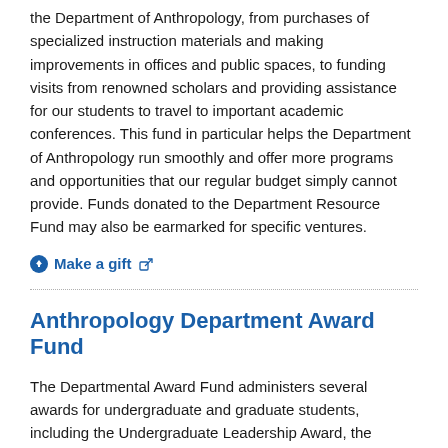The Resource Fund is instrumental in supporting all functions of the Department of Anthropology, from purchases of specialized instruction materials and making improvements in offices and public spaces, to funding visits from renowned scholars and providing assistance for our students to travel to important academic conferences. This fund in particular helps the Department of Anthropology run smoothly and offer more programs and opportunities that our regular budget simply cannot provide. Funds donated to the Department Resource Fund may also be earmarked for specific ventures.
Make a gift
Anthropology Department Award Fund
The Departmental Award Fund administers several awards for undergraduate and graduate students, including the Undergraduate Leadership Award, the Undergraduate Professional Activities and Achievement in Anthropology Scholarship Award, and the Michael Matsumunyane Graduate Travel Award.